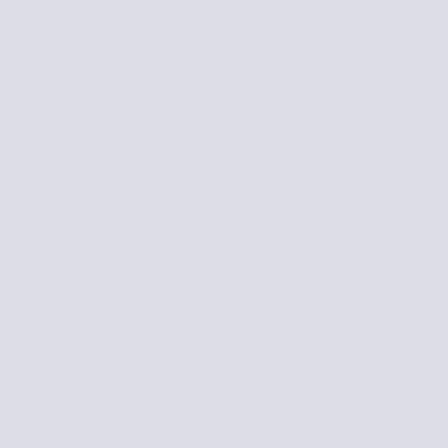The faint wo... read 'Third S... words mean... set in a dar... quadrilles be...
[Figure (photo): Portrait photo of a woman with curly brown hair and glasses, wearing a light purple/lavender top, smiling, outdoors with blue sky and water in background]
Find out mor...
If you have ... keep making... coffee by cli...